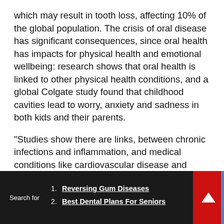which may result in tooth loss, affecting 10% of the global population. The crisis of oral disease has significant consequences, since oral health has impacts for physical health and emotional wellbeing: research shows that oral health is linked to other physical health conditions, and a global Colgate study found that childhood cavities lead to worry, anxiety and sadness in both kids and their parents.
“Studies show there are links, between chronic infections and inflammation, and medical conditions like cardiovascular disease and stroke, with common oral diseases being identified as contributors to increased risk for a number of systemic disorders. The mouth is a source of bacteria and inflammation
Search for
1. Reversing Gum Diseases
2. Best Dental Plans For Seniors